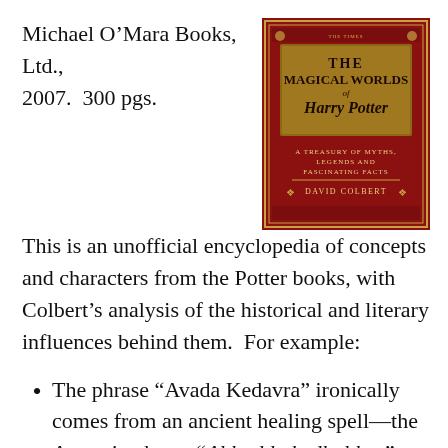Michael O'Mara Books, Ltd., 2007.  300 pgs.
[Figure (illustration): Book cover of 'The Magical Worlds of Harry Potter: A Treasury of Myths, Legends and Fascinating Facts' by David Colbert, with a red decorative background and gold ornamental title lettering.]
This is an unofficial encyclopedia of concepts and characters from the Potter books, with Colbert's analysis of the historical and literary influences behind them.  For example:
The phrase “Avada Kedavra” ironically comes from an ancient healing spell—the Aramaic phrase “Abhadda kedhabhra” means “disappear like this word.” [7]  It might also